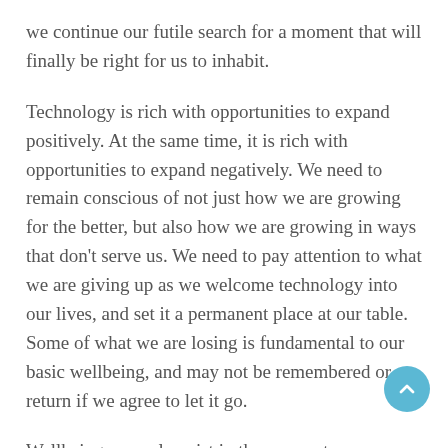we continue our futile search for a moment that will finally be right for us to inhabit.
Technology is rich with opportunities to expand positively. At the same time, it is rich with opportunities to expand negatively. We need to remain conscious of not just how we are growing for the better, but also how we are growing in ways that don't serve us. We need to pay attention to what we are giving up as we welcome technology into our lives, and set it a permanent place at our table. Some of what we are losing is fundamental to our basic wellbeing, and may not be remembered or return if we agree to let it go.
Wellbeing can only exist in the moment. Technology encourages us to depart the moment. Wellbeing can only exist if we can be with ourselves and stay mindful